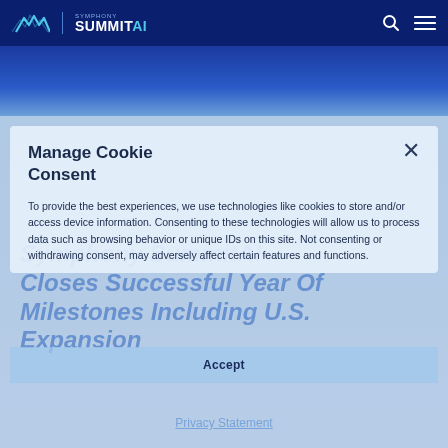Symphony SummitAI
Manage Cookie Consent
To provide the best experiences, we use technologies like cookies to store and/or access device information. Consenting to these technologies will allow us to process data such as browsing behavior or unique IDs on this site. Not consenting or withdrawing consent, may adversely affect certain features and functions.
Symphony SummitAI Closes Successful Year Of Milestones Including U.S. Expansion
Accept
Privacy Statement